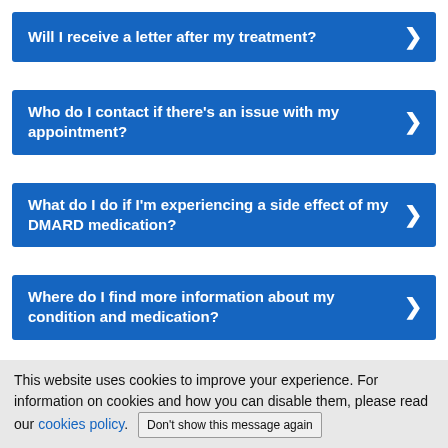Will I receive a letter after my treatment?
Who do I contact if there's an issue with my appointment?
What do I do if I'm experiencing a side effect of my DMARD medication?
Where do I find more information about my condition and medication?
This website uses cookies to improve your experience. For information on cookies and how you can disable them, please read our cookies policy. Don't show this message again